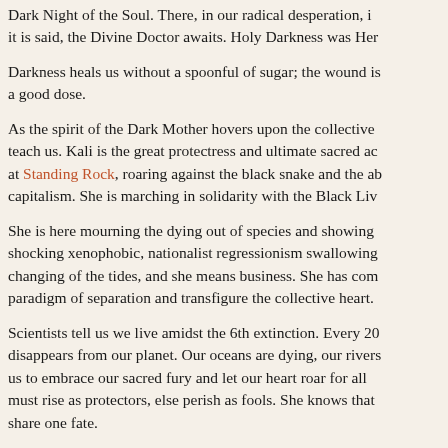Dark Night of the Soul. There, in our radical desperation, it is said, the Divine Doctor awaits. Holy Darkness was Her...
Darkness heals us without a spoonful of sugar; the wound is a good dose.
As the spirit of the Dark Mother hovers upon the collective teach us. Kali is the great protectress and ultimate sacred ac at Standing Rock, roaring against the black snake and the ab capitalism. She is marching in solidarity with the Black Liv
She is here mourning the dying out of species and showing shocking xenophobic, nationalist regressionism swallowing changing of the tides, and she means business. She has com paradigm of separation and transfigure the collective heart.
Scientists tell us we live amidst the 6th extinction. Every 20 disappears from our planet. Our oceans are dying, our rivers us to embrace our sacred fury and let our heart roar for all must rise as protectors, else perish as fools. She knows that share one fate.
...Standing Rock, and the Kali...